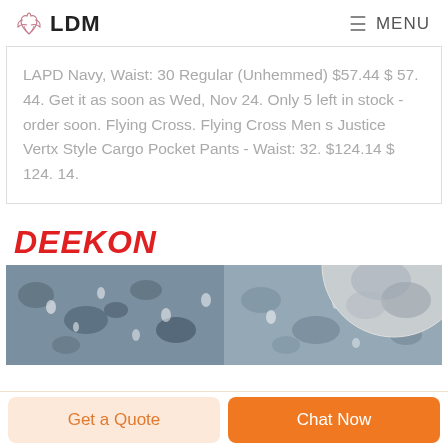LDM   MENU
LAPD Navy, Waist: 30 Regular (Unhemmed) $57.44 $ 57. 44. Get it as soon as Wed, Nov 24. Only 5 left in stock - order soon. Flying Cross. Flying Cross Men s Justice Vertx Style Cargo Pocket Pants - Waist: 32. $124.14 $ 124. 14.
[Figure (logo): DEEKON logo in bold red italic text]
[Figure (photo): Fabric texture photos showing camouflage and grey patterned textiles, with a circular inset of grey fabric on the right]
Get a Quote
Chat Now